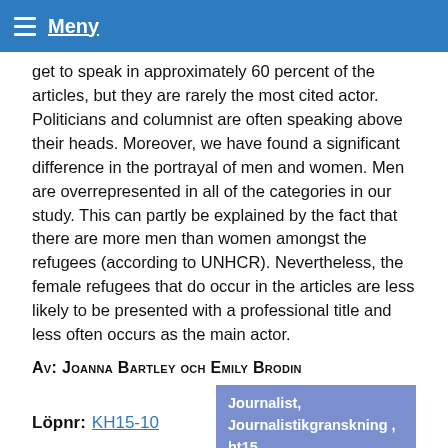Meny
get to speak in approximately 60 percent of the articles, but they are rarely the most cited actor. Politicians and columnist are often speaking above their heads. Moreover, we have found a significant difference in the portrayal of men and women. Men are overrepresented in all of the categories in our study. This can partly be explained by the fact that there are more men than women amongst the refugees (according to UNHCR). Nevertheless, the female refugees that do occur in the articles are less likely to be presented with a professional title and less often occurs as the main actor.
Av: Joanna Bartley och Emily Brodin
Löpnr: KH15-10
Journalist, Journalistikgranskning , ht15
Om arbetet finns tillgängligt som pdf är löpnumret klickbart. Om arbetet inte är tillgängligt som pdf